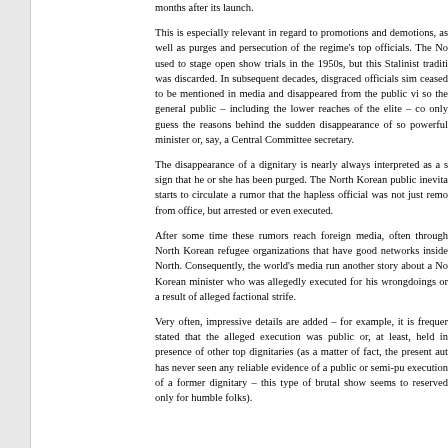months after its launch.
This is especially relevant in regard to promotions and demotions, as well as purges and persecution of the regime's top officials. The No used to stage open show trials in the 1950s, but this Stalinist traditi was discarded. In subsequent decades, disgraced officials sim ceased to be mentioned in media and disappeared from the public vi so the general public – including the lower reaches of the elite – co only guess the reasons behind the sudden disappearance of so powerful minister or, say, a Central Committee secretary.
The disappearance of a dignitary is nearly always interpreted as a s sign that he or she has been purged. The North Korean public inevita starts to circulate a rumor that the hapless official was not just remo from office, but arrested or even executed.
After some time these rumors reach foreign media, often through North Korean refugee organizations that have good networks inside North. Consequently, the world's media run another story about a No Korean minister who was allegedly executed for his wrongdoings or a result of alleged factional strife.
Very often, impressive details are added – for example, it is frequer stated that the alleged execution was public or, at least, held in presence of other top dignitaries (as a matter of fact, the present aut has never seen any reliable evidence of a public or semi-pu execution of a former dignitary – this type of brutal show seems to reserved only for humble folks).